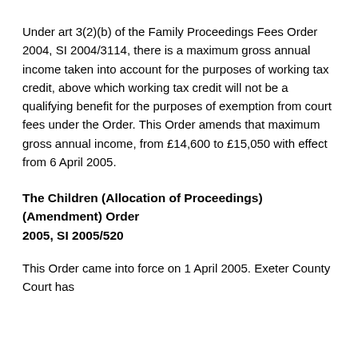Under art 3(2)(b) of the Family Proceedings Fees Order 2004, SI 2004/3114, there is a maximum gross annual income taken into account for the purposes of working tax credit, above which working tax credit will not be a qualifying benefit for the purposes of exemption from court fees under the Order. This Order amends that maximum gross annual income, from £14,600 to £15,050 with effect from 6 April 2005.
The Children (Allocation of Proceedings) (Amendment) Order 2005, SI 2005/520
This Order came into force on 1 April 2005. Exeter County Court has